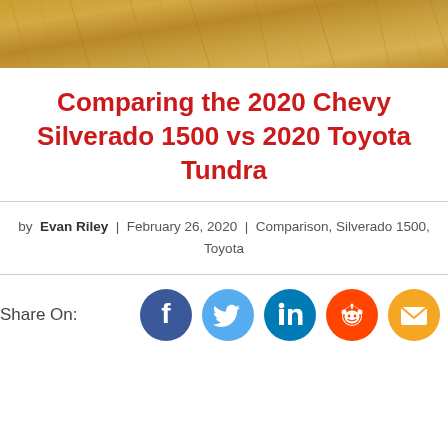[Figure (photo): Golden wheat field background image used as hero banner at top of page]
Comparing the 2020 Chevy Silverado 1500 vs 2020 Toyota Tundra
by Evan Riley | February 26, 2020 | Comparison, Silverado 1500, Toyota
Share On:
[Figure (illustration): Social media share icons: Facebook (blue), Twitter (light blue), LinkedIn (teal), Reddit (orange-red), Email (golden/orange)]